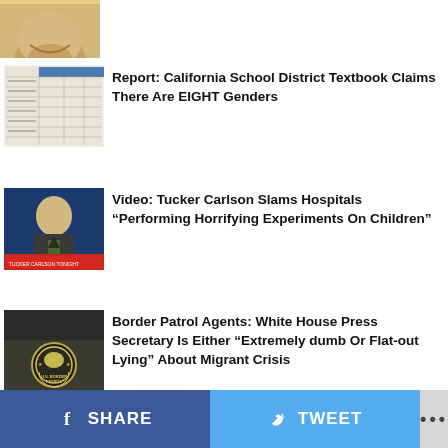[Figure (photo): Partial image of a person's face (top of page, cropped)]
[Figure (photo): Thumbnail of a textbook or document page]
Report: California School District Textbook Claims There Are EIGHT Genders
[Figure (photo): Tucker Carlson on TV screen with chyron]
Video: Tucker Carlson Slams Hospitals “Performing Horrifying Experiments On Children”
[Figure (photo): US Border Patrol agent uniform badge close-up]
Border Patrol Agents: White House Press Secretary Is Either “Extremely dumb Or Flat-out Lying” About Migrant Crisis
COMMENTS
SHARE  TWEET  ...